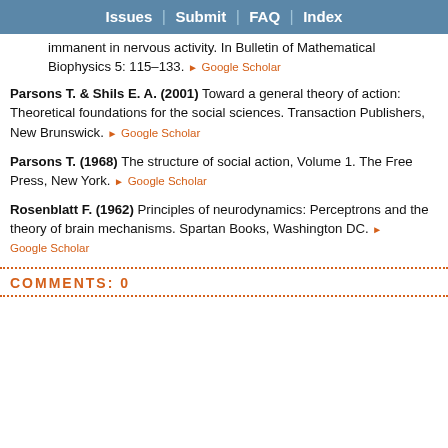Issues | Submit | FAQ | Index
immanent in nervous activity. In Bulletin of Mathematical Biophysics 5: 115–133. ▶ Google Scholar
Parsons T. & Shils E. A. (2001) Toward a general theory of action: Theoretical foundations for the social sciences. Transaction Publishers, New Brunswick. ▶ Google Scholar
Parsons T. (1968) The structure of social action, Volume 1. The Free Press, New York. ▶ Google Scholar
Rosenblatt F. (1962) Principles of neurodynamics: Perceptrons and the theory of brain mechanisms. Spartan Books, Washington DC. ▶ Google Scholar
COMMENTS: 0